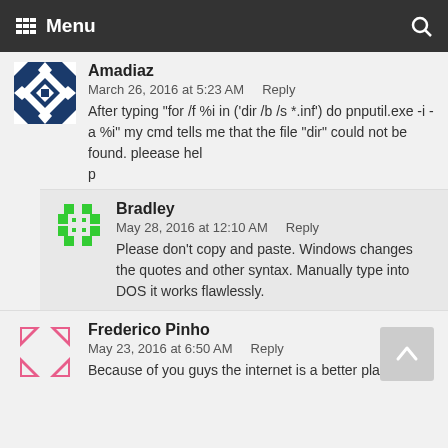Menu
Amadiaz
March 26, 2016 at 5:23 AM    Reply
After typing "for /f %i in ('dir /b /s *.inf') do pnputil.exe -i -a %i" my cmd tells me that the file "dir" could not be found. pleease hel
p
Bradley
May 28, 2016 at 12:10 AM    Reply
Please don't copy and paste. Windows changes the quotes and other syntax. Manually type into DOS it works flawlessly.
Frederico Pinho
May 23, 2016 at 6:50 AM    Reply
Because of you guys the internet is a better place. This